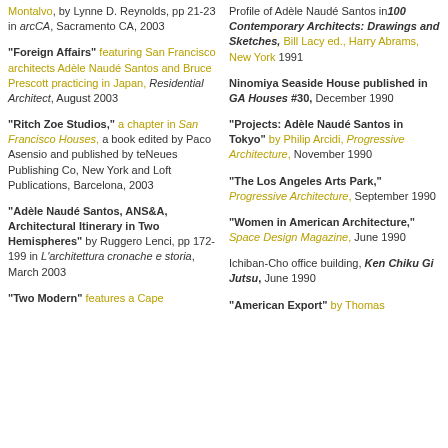Montalvo, by Lynne D. Reynolds, pp 21-23 in arcCA, Sacramento CA, 2003
"Foreign Affairs" featuring San Francisco architects Adèle Naudé Santos and Bruce Prescott practicing in Japan, Residential Architect, August 2003
"Ritch Zoe Studios," a chapter in San Francisco Houses, a book edited by Paco Asensio and published by teNeues Publishing Co, New York and Loft Publications, Barcelona, 2003
"Adèle Naudé Santos, ANS&A, Architectural Itinerary in Two Hemispheres" by Ruggero Lenci, pp 172-199 in L'architettura cronache e storia, March 2003
"Two Modern" features a Cape
Profile of Adèle Naudé Santos in 100 Contemporary Architects: Drawings and Sketches, Bill Lacy ed., Harry Abrams, New York 1991
Ninomiya Seaside House published in GA Houses #30, December 1990
"Projects: Adèle Naudé Santos in Tokyo" by Philip Arcidi, Progressive Architecture, November 1990
"The Los Angeles Arts Park," Progressive Architecture, September 1990
"Women in American Architecture," Space Design Magazine, June 1990
Ichiban-Cho office building, Ken Chiku Gi Jutsu, June 1990
"American Export" by Thomas